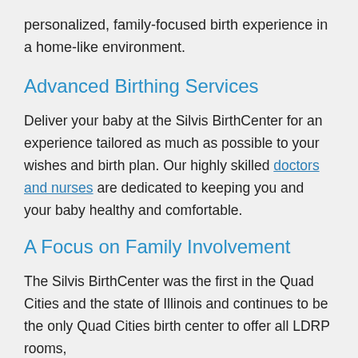personalized, family-focused birth experience in a home-like environment.
Advanced Birthing Services
Deliver your baby at the Silvis BirthCenter for an experience tailored as much as possible to your wishes and birth plan. Our highly skilled doctors and nurses are dedicated to keeping you and your baby healthy and comfortable.
A Focus on Family Involvement
The Silvis BirthCenter was the first in the Quad Cities and the state of Illinois and continues to be the only Quad Cities birth center to offer all LDRP rooms,